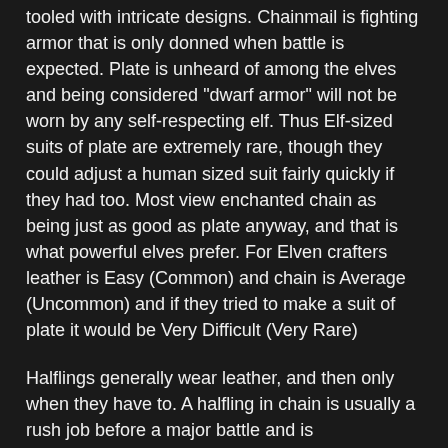tooled with intricate designs. Chainmail is fighting armor that is only donned when battle is expected. Plate is unheard of among the elves and being considered "dwarf armor" will not be worn by any self-respecting elf. Thus Elf-sized suits of plate are extremely rare, though they could adjust a human sized suit fairly quickly if they had too. Most view enchanted chain as being just as good as plate anyway, and that is what powerful elves prefer. For Elven crafters leather is Easy (Common) and chain is Average (Uncommon) and if they tried to make a suit of plate it would be Very Difficult (Very Rare)
Halflings generally wear leather, and then only when they have to. A halfling in chain is usually a rush job before a major battle and is uncomfortable at best. Halflings in plate have been theorized but never actually found in the wild.
Weapons
Dwarves favor axes and hammers for melee fighting, throwing axes for short-range missiles, and crossbows for longer ranged fire. Dwarves will use swords, especially